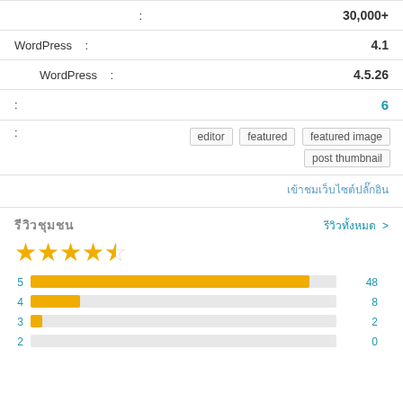| : | 30,000+ |
| WordPress : | 4.1 |
| WordPress : | 4.5.26 |
| : | 6 |
| : | editor  featured  featured image  post thumbnail |
เข้าชมเว็บไซต์ปลั๊กอิน
รีวิวชุมชน
รีวิวทั้งหมด >
[Figure (bar-chart): Star ratings]